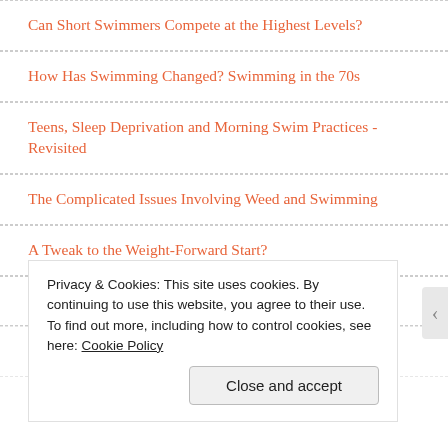Can Short Swimmers Compete at the Highest Levels?
How Has Swimming Changed? Swimming in the 70s
Teens, Sleep Deprivation and Morning Swim Practices - Revisited
The Complicated Issues Involving Weed and Swimming
A Tweak to the Weight-Forward Start?
What Makes a Pool Fast?
More Than You Want to Know About Underwater Kicking
Privacy & Cookies: This site uses cookies. By continuing to use this website, you agree to their use.
To find out more, including how to control cookies, see here: Cookie Policy